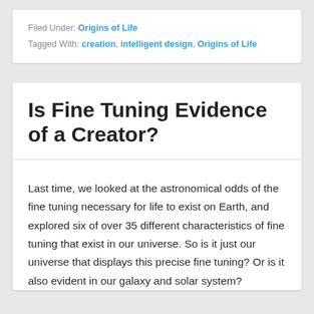Filed Under: Origins of Life
Tagged With: creation, intelligent design, Origins of Life
Is Fine Tuning Evidence of a Creator?
Last time, we looked at the astronomical odds of the fine tuning necessary for life to exist on Earth, and explored six of over 35 different characteristics of fine tuning that exist in our universe. So is it just our universe that displays this precise fine tuning? Or is it also evident in our galaxy and solar system?